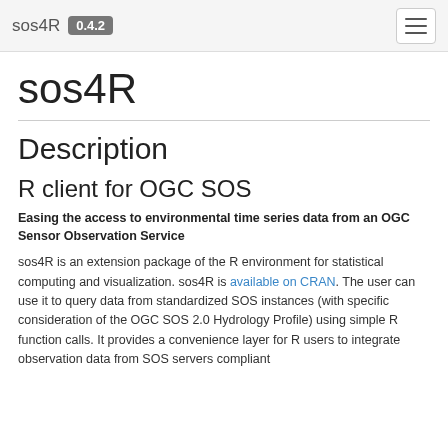sos4R 0.4.2
sos4R
Description
R client for OGC SOS
Easing the access to environmental time series data from an OGC Sensor Observation Service
sos4R is an extension package of the R environment for statistical computing and visualization. sos4R is available on CRAN. The user can use it to query data from standardized SOS instances (with specific consideration of the OGC SOS 2.0 Hydrology Profile) using simple R function calls. It provides a convenience layer for R users to integrate observation data from SOS servers compliant